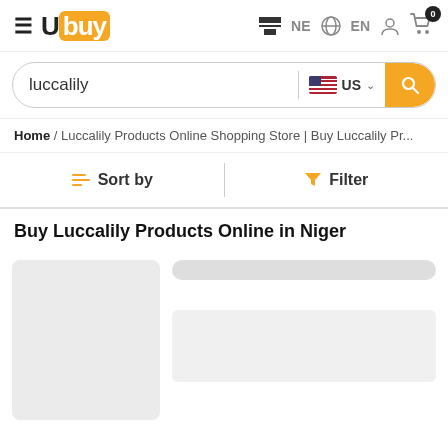[Figure (logo): Ubuy logo with orange square background on 'buy' portion, hamburger menu icon to the left]
NE  EN  [user icon] [cart icon] 0
[Figure (screenshot): Search bar with text 'luccalily', US flag dropdown, and orange search button]
Home / Luccalily Products Online Shopping Store | Buy Luccalily Pr...
Sort by   Filter
Buy Luccalily Products Online in Niger
[Figure (other): Product listing skeleton placeholder with grey image box on left and loading bars on right]